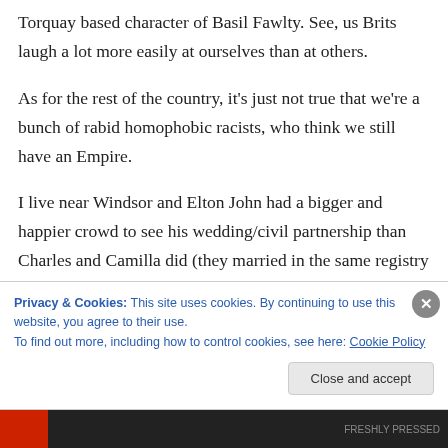Torquay based character of Basil Fawlty. See, us Brits laugh a lot more easily at ourselves than at others.
As for the rest of the country, it's just not true that we're a bunch of rabid homophobic racists, who think we still have an Empire.
I live near Windsor and Elton John had a bigger and happier crowd to see his wedding/civil partnership than Charles and Camilla did (they married in the same registry office) He's a
Privacy & Cookies: This site uses cookies. By continuing to use this website, you agree to their use.
To find out more, including how to control cookies, see here: Cookie Policy
Close and accept